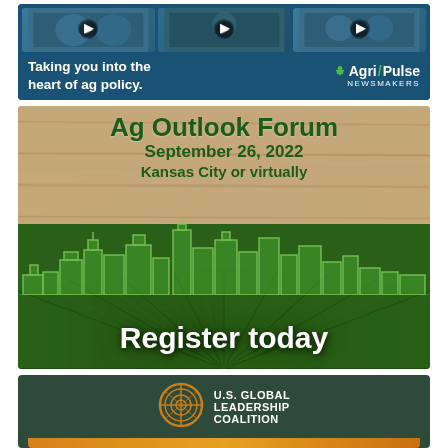[Figure (infographic): Agri-Pulse Newsmakers advertisement banner with three video thumbnails showing political figures, dark blue background, tagline 'Taking you into the heart of ag policy.' and Agri-Pulse Newsmakers logo]
[Figure (infographic): Ag Outlook Forum advertisement: green text on wood-grain background reading 'Ag Outlook Forum September 26, 2022 Kansas City or virtually', with Kansas City skyline outline over green field/crop rows background, and large white 'Register today' text]
[Figure (logo): U.S. Global Leadership Coalition logo and name on dark green background with orange stripe at bottom]